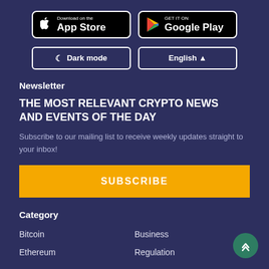[Figure (screenshot): Download on the App Store button (black background, white border, Apple logo)]
[Figure (screenshot): GET IT ON Google Play button (black background, white border, Google Play triangle logo)]
Dark mode
English ▲
Newsletter
THE MOST RELEVANT CRYPTO NEWS AND EVENTS OF THE DAY
Subscribe to our mailing list to receive weekly updates straight to your inbox!
SUBSCRIBE
Category
Bitcoin
Business
Ethereum
Regulation